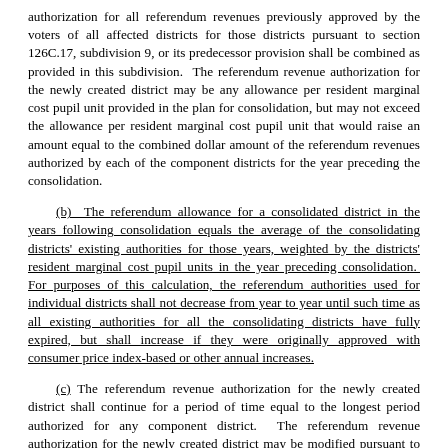authorization for all referendum revenues previously approved by the voters of all affected districts for those districts pursuant to section 126C.17, subdivision 9, or its predecessor provision shall be combined as provided in this subdivision.  The referendum revenue authorization for the newly created district may be any allowance per resident marginal cost pupil unit provided in the plan for consolidation, but may not exceed the allowance per resident marginal cost pupil unit that would raise an amount equal to the combined dollar amount of the referendum revenues authorized by each of the component districts for the year preceding the consolidation.
(b)  The referendum allowance for a consolidated district in the years following consolidation equals the average of the consolidating districts' existing authorities for those years, weighted by the districts' resident marginal cost pupil units in the year preceding consolidation.  For purposes of this calculation, the referendum authorities used for individual districts shall not decrease from year to year until such time as all existing authorities for all the consolidating districts have fully expired, but shall increase if they were originally approved with consumer price index-based or other annual increases.
(c) The referendum revenue authorization for the newly created district shall continue for a period of time equal to the longest period authorized for any component district.  The referendum revenue authorization for the newly created district may be modified pursuant to section 126C.17, subdivision 9.
Sec. 5.  Minnesota Statutes 2008, section 123B.02, subdivision 21, is amended to read:
Subd. 21.  Wind energy conversion system.  The board, or more than one